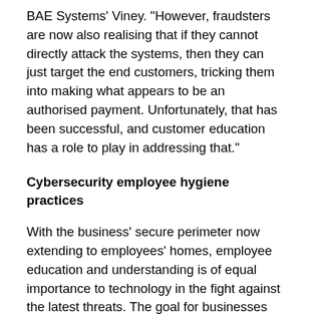BAE Systems' Viney. "However, fraudsters are now also realising that if they cannot directly attack the systems, then they can just target the end customers, tricking them into making what appears to be an authorised payment. Unfortunately, that has been successful, and customer education has a role to play in addressing that."
Cybersecurity employee hygiene practices
With the business' secure perimeter now extending to employees' homes, employee education and understanding is of equal importance to technology in the fight against the latest threats. The goal for businesses and organisations is to find that critical balance, ensuring that while the right technology is in place to secure internal processes, the human element must also be looked into.
As most employees are still working from home,